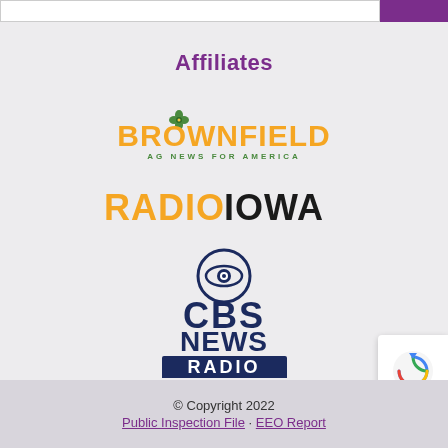Affiliates
[Figure (logo): Brownfield AG News for America logo — orange bold text 'BROWNFIELD' with a green four-leaf clover icon above the 'O', and green subtitle 'AG NEWS FOR AMERICA']
[Figure (logo): Radio Iowa logo — orange 'RADIO' followed by black bold 'IOWA']
[Figure (logo): CBS News Radio logo — dark navy blue with CBS eye logo circle, text 'CBS NEWS RADIO' stacked]
© Copyright 2022 · Public Inspection File · EEO Report